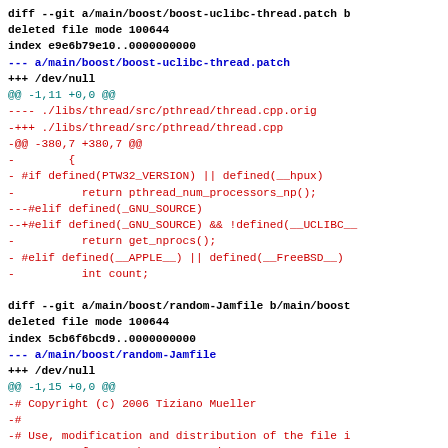diff --git a/main/boost/boost-uclibc-thread.patch b/...
deleted file mode 100644
index e9e6b79e10..0000000000
--- a/main/boost/boost-uclibc-thread.patch
+++ /dev/null
@@ -1,11 +0,0 @@
---- ./libs/thread/src/pthread/thread.cpp.orig
-+++ ./libs/thread/src/pthread/thread.cpp
-@@ -380,7 +380,7 @@
-        {
- #if defined(PTW32_VERSION) || defined(__hpux)
-          return pthread_num_processors_np();
---#elif defined(_GNU_SOURCE)
--+#elif defined(_GNU_SOURCE) && !defined(__UCLIBC__
-          return get_nprocs();
- #elif defined(__APPLE__) || defined(__FreeBSD__)
-          int count;

diff --git a/main/boost/random-Jamfile b/main/boost...
deleted file mode 100644
index 5cb6f6bcd9..0000000000
--- a/main/boost/random-Jamfile
+++ /dev/null
@@ -1,15 +0,0 @@
-# Copyright (c) 2006 Tiziano Mueller
-#
-# Use, modification and distribution of the file i
-# Boost Software License, Version 1.0.
-# (See at http://www.boost.org/LICENSE_1_0.txt)
-